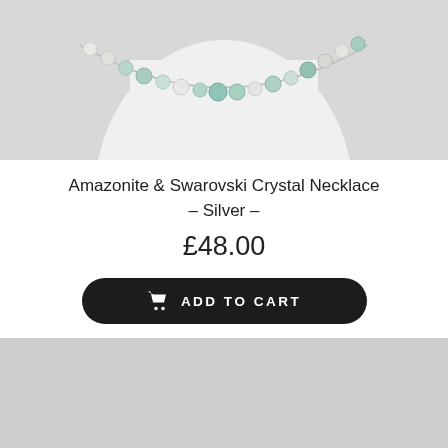[Figure (photo): Top portion of a necklace with light blue/green amazonite beads and clear swarovski crystals on a white mannequin neck, light grey background]
Amazonite & Swarovski Crystal Necklace – Silver –
£48.00
[Figure (other): Black rounded-rectangle Add to Cart button with shopping cart icon and text ADD TO CART in white uppercase letters]
[Figure (photo): Bottom portion showing amethyst chip bracelet with purple irregular gemstone chips and silver chain clasp, on light grey background]